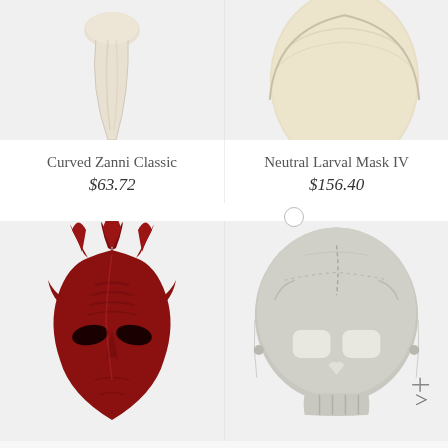[Figure (photo): Curved Zanni Classic mask - pale/cream colored elongated nose mask, top portion visible]
[Figure (photo): Neutral Larval Mask IV - pale/cream colored larval mask, top portion visible]
Curved Zanni Classic
$63.72
Neutral Larval Mask IV
$156.40
[Figure (photo): Red devil/demon mask with multiple horns, textured red latex, theatrical mask]
[Figure (photo): Gray skull mask with hollow eyes and nose, rounded skull shape, paper mache style]